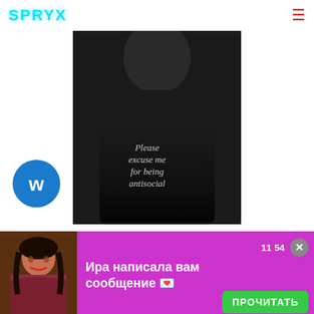SPRYX
[Figure (photo): Black and white photo of Roddy Ricch wearing a black hoodie with text 'Please excuse me for being antisocial'. Warner Bros logo visible on the left side.]
Roddy Ricch - The Box [Official Audio]
Roddy Ricch
[Figure (photo): Thumbnail strip showing a video dated 01.04.2019 with a warm-toned interior scene]
[Figure (photo): Notification banner with a woman's photo, message 'Ира написала вам сообщение 💌', time 11:54, and a green ПРОЧИТАТЬ button]